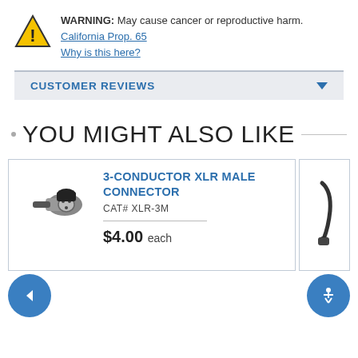WARNING: May cause cancer or reproductive harm. California Prop. 65 Why is this here?
CUSTOMER REVIEWS
YOU MIGHT ALSO LIKE
[Figure (photo): 3-Conductor XLR Male Connector product photo]
3-CONDUCTOR XLR MALE CONNECTOR
CAT# XLR-3M
$4.00 each
[Figure (photo): Partially visible second product photo on right edge]